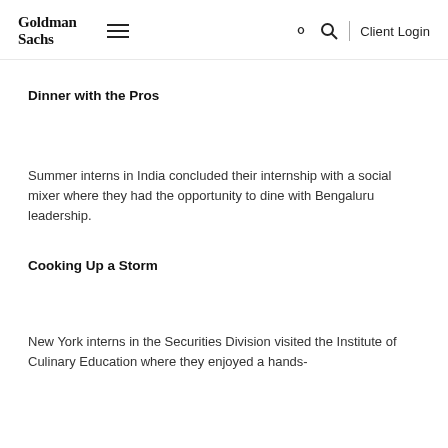Goldman Sachs   ☰   🔍  |  Client Login
Dinner with the Pros
Summer interns in India concluded their internship with a social mixer where they had the opportunity to dine with Bengaluru leadership.
Cooking Up a Storm
New York interns in the Securities Division visited the Institute of Culinary Education where they enjoyed a hands-